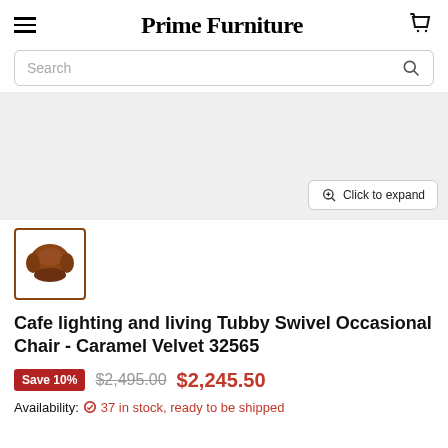Prime Furniture
Search
[Figure (photo): Main product image area showing a caramel velvet swivel occasional chair on grey background with 'Click to expand' button]
[Figure (photo): Thumbnail image of the caramel velvet tubby swivel chair]
Cafe lighting and living Tubby Swivel Occasional Chair - Caramel Velvet 32565
Save 10%  $2,495.00  $2,245.50
Availability: 37 in stock, ready to be shipped